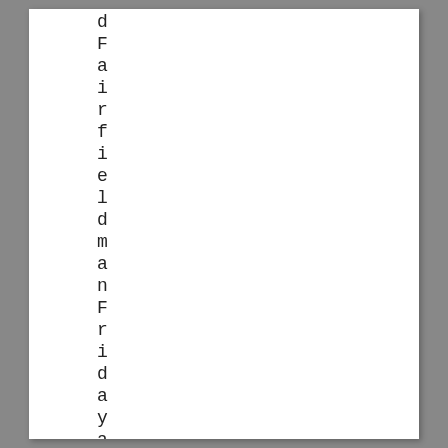d F a i r f i e l d m a n F r i d a y a f t e r